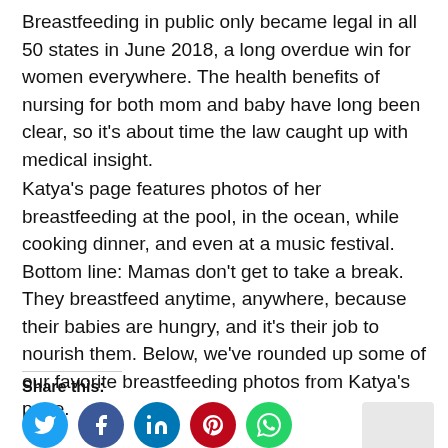Breastfeeding in public only became legal in all 50 states in June 2018, a long overdue win for women everywhere. The health benefits of nursing for both mom and baby have long been clear, so it’s about time the law caught up with medical insight.
Katya’s page features photos of her breastfeeding at the pool, in the ocean, while cooking dinner, and even at a music festival. Bottom line: Mamas don’t get to take a break. They breastfeed anytime, anywhere, because their babies are hungry, and it’s their job to nourish them. Below, we’ve rounded up some of our favorite breastfeeding photos from Katya’s page.
Share this:
[Figure (other): Social share icons: Twitter (blue circle), Facebook (dark blue circle), LinkedIn (blue circle), Pinterest (red circle), WhatsApp (green circle), and a grey placeholder box on the right.]